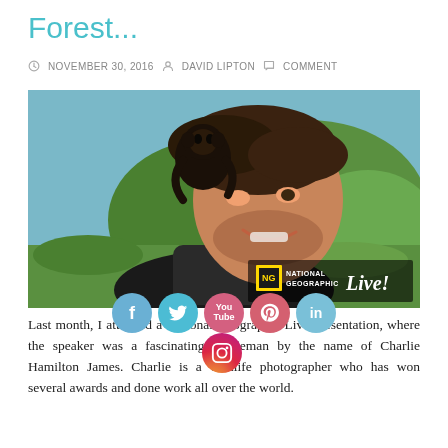Forest...
NOVEMBER 30, 2016  DAVID LIPTON  COMMENT
[Figure (photo): A smiling man with a small black monkey (spider monkey) perched on his shoulder/back. The background shows a green tropical landscape. In the lower right corner is a National Geographic Live! logo overlay.]
Last month, I attended a National Geographic Live presentation, where the speaker was a fascinating gentleman by the name of Charlie Hamilton James.  Charlie is a wildlife photographer who has won several awards and done work all over the world.